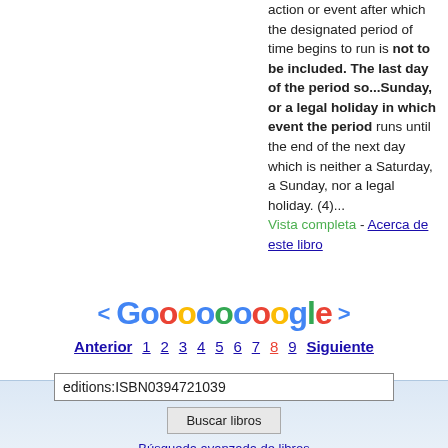action or event after which the designated period of time begins to run is not to be included. The last day of the period so...Sunday, or a legal holiday in which event the period runs until the end of the next day which is neither a Saturday, a Sunday, nor a legal holiday. (4)... Vista completa - Acerca de este libro
[Figure (other): Google pagination navigation showing < Gooooooooogle > with page numbers Anterior 1 2 3 4 5 6 7 8 9 Siguiente]
editions:ISBN0394721039
Buscar libros
Búsqueda avanzada de libros